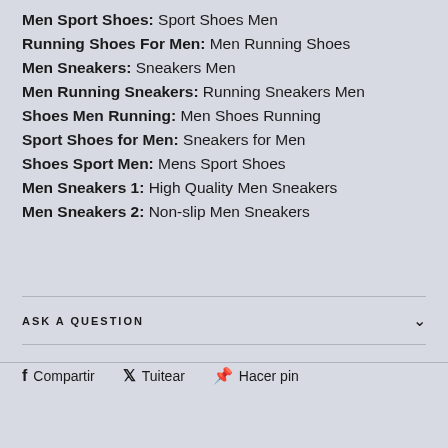Men Sport Shoes: Sport Shoes Men
Running Shoes For Men: Men Running Shoes
Men Sneakers: Sneakers Men
Men Running Sneakers: Running Sneakers Men
Shoes Men Running: Men Shoes Running
Sport Shoes for Men: Sneakers for Men
Shoes Sport Men: Mens Sport Shoes
Men Sneakers 1: High Quality Men Sneakers
Men Sneakers 2: Non-slip Men Sneakers
ASK A QUESTION
Compartir  Tuitear  Hacer pin